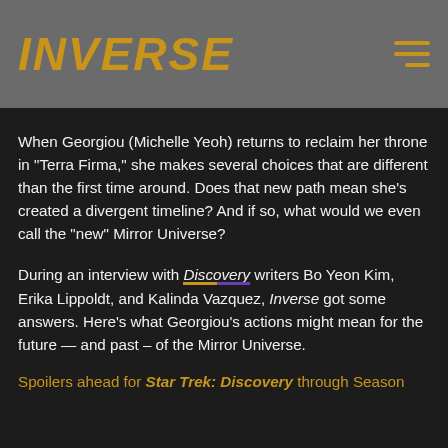INVERSE
When Georgiou (Michelle Yeoh) returns to reclaim her throne in "Terra Firma," she makes several choices that are different than the first time around. Does that new path mean she's created a divergent timeline? And if so, what would we even call the "new" Mirror Universe?
During an interview with Discovery writers Bo Yeon Kim, Erika Lippoldt, and Kalinda Vazquez, Inverse got some answers. Here's what Georgiou's actions might mean for the future — and past – of the Mirror Universe.
Spoilers ahead for Star Trek: Discovery through Season